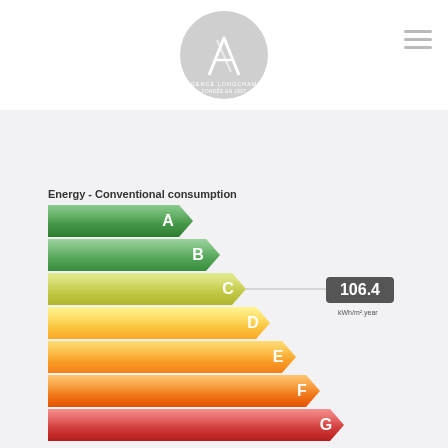[Figure (logo): Agence Longchamp circular logo in gray]
[Figure (infographic): EU Energy efficiency rating chart (A-G) showing conventional energy consumption of 106.4 kWh/m².year at rating C]